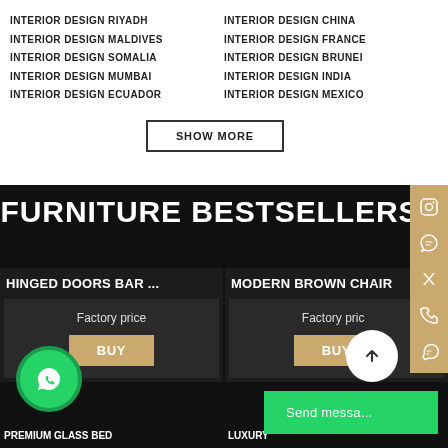INTERIOR DESIGN RIYADH
INTERIOR DESIGN MALDIVES
INTERIOR DESIGN SOMALIA
INTERIOR DESIGN MUMBAI
INTERIOR DESIGN ECUADOR
INTERIOR DESIGN CHINA
INTERIOR DESIGN FRANCE
INTERIOR DESIGN BRUNEI
INTERIOR DESIGN INDIA
INTERIOR DESIGN MEXICO
FURNITURE BESTSELLERS
HINGED DOORS BAR ...
Factory price
BUY
MODERN BROWN CHAIR
Factory price
BUY
PREMIUM GLASS BED
LUXURY
Send messa...